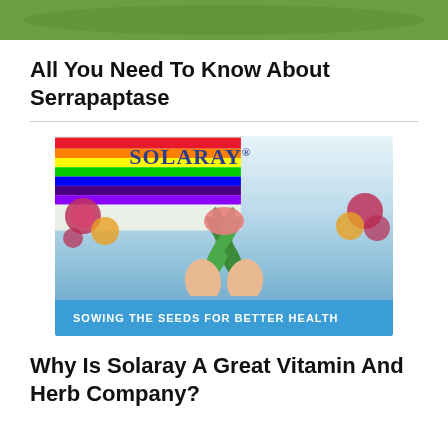[Figure (photo): Top portion of a photo showing green grass or foliage with animals]
All You Need To Know About Serrapaptase
[Figure (illustration): Solaray brand advertisement showing rainbow, botanical illustrations of flowers and plants, two hands raised, and tagline 'SOWING THE SEEDS FOR BETTER HEALTH' on a blue banner]
Why Is Solaray A Great Vitamin And Herb Company?